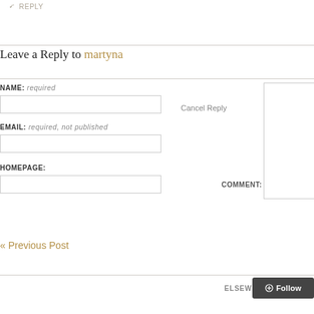↩ REPLY
Leave a Reply to martyna
NAME: required
Cancel Reply
EMAIL: required, not published
HOMEPAGE:
COMMENT:
« Previous Post
ELSEWHE…
+ Follow